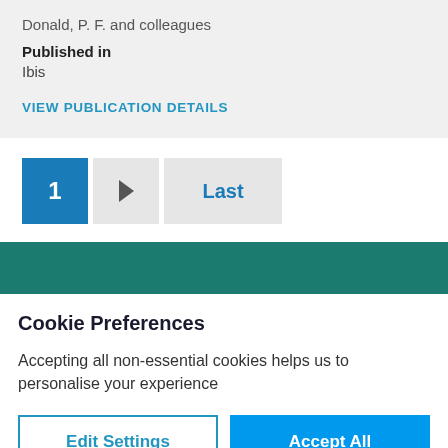Donald, P. F. and colleagues
Published in
Ibis
VIEW PUBLICATION DETAILS
1  ▶  Last
Cookie Preferences
Accepting all non-essential cookies helps us to personalise your experience
Edit Settings
Accept All